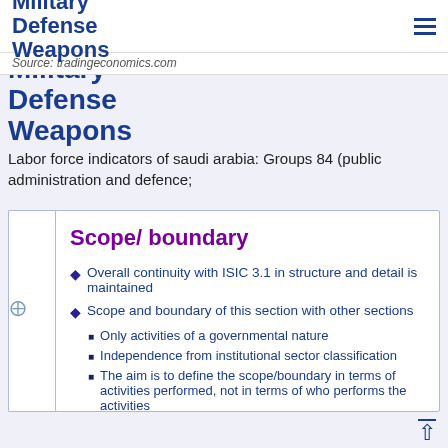Military Defense Weapons
Source: tradingeconomics.com
Military Defense Weapons
Labor force indicators of saudi arabia: Groups 84 (public administration and defence;
Scope/ boundary
Overall continuity with ISIC 3.1 in structure and detail is maintained
Scope and boundary of this section with other sections
Only activities of a governmental nature
Independence from institutional sector classification
The aim is to define the scope/boundary in terms of activities performed, not in terms of who performs the activities
Try to separate “operating” part from the “activity” part